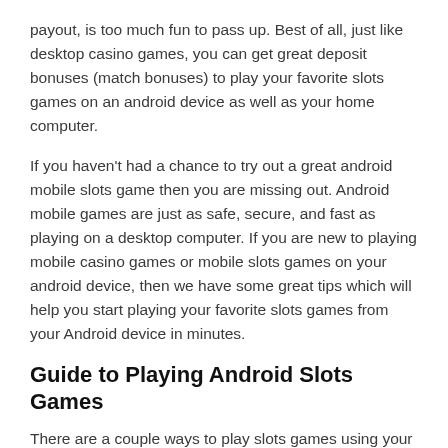payout, is too much fun to pass up. Best of all, just like desktop casino games, you can get great deposit bonuses (match bonuses) to play your favorite slots games on an android device as well as your home computer.
If you haven't had a chance to try out a great android mobile slots game then you are missing out. Android mobile games are just as safe, secure, and fast as playing on a desktop computer. If you are new to playing mobile casino games or mobile slots games on your android device, then we have some great tips which will help you start playing your favorite slots games from your Android device in minutes.
Guide to Playing Android Slots Games
There are a couple ways to play slots games using your Android smart phone or tablet, both ways are simple to use and are safe and secure. Follow these